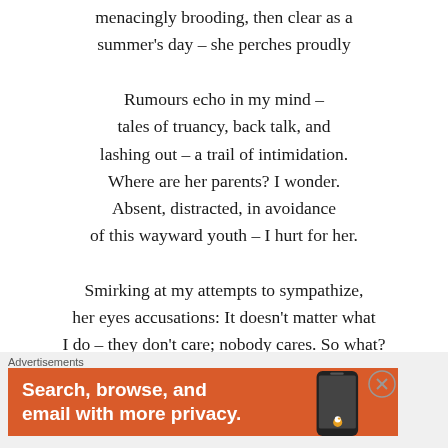menacingly brooding, then clear as a summer's day – she perches proudly
Rumours echo in my mind –
tales of truancy, back talk, and
lashing out – a trail of intimidation.
Where are her parents? I wonder.
Absent, distracted, in avoidance
of this wayward youth – I hurt for her.
Smirking at my attempts to sympathize,
her eyes accusations: It doesn't matter what
I do – they don't care; nobody cares. So what?
Don't you care, I want to shake her, don't you
worry about your future, see the damage you
are causing – I maintain composure – she is
Advertisements
[Figure (infographic): DuckDuckGo advertisement banner with orange background. Text reads 'Search, browse, and email with more privacy.' with a phone mockup on the right and DuckDuckGo duck logo.]